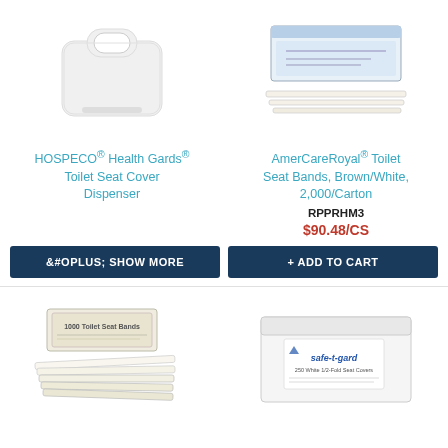[Figure (photo): HOSPECO Health Gards Toilet Seat Cover Dispenser - white plastic dispenser]
[Figure (photo): AmerCareRoyal Toilet Seat Bands, Brown/White, 2000/Carton - box and bands]
HOSPECO® Health Gards® Toilet Seat Cover Dispenser
AmerCareRoyal® Toilet Seat Bands, Brown/White, 2,000/Carton
RPPRHM3
$90.48/CS
⊕ SHOW MORE
+ ADD TO CART
[Figure (photo): 1000 Toilet Seat Bands box with bands fanned out]
[Figure (photo): safe-t-gard 250 White 1/2-Fold Seat Covers box]